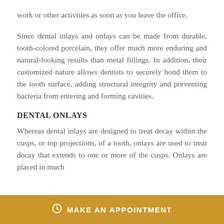work or other activities as soon as you leave the office.
Since dental inlays and onlays can be made from durable, tooth-colored porcelain, they offer much more enduring and natural-looking results than metal fillings. In addition, their customized nature allows dentists to securely bond them to the tooth surface, adding structural integrity and preventing bacteria from entering and forming cavities.
DENTAL ONLAYS
Whereas dental inlays are designed to treat decay within the cusps, or top projections, of a tooth, onlays are used to treat decay that extends to one or more of the cusps. Onlays are placed in much
MAKE AN APPOINTMENT